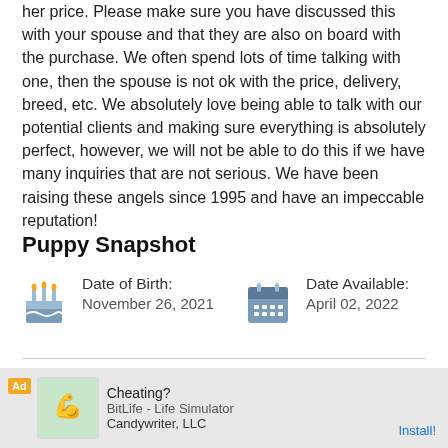her price. Please make sure you have discussed this with your spouse and that they are also on board with the purchase. We often spend lots of time talking with one, then the spouse is not ok with the price, delivery, breed, etc. We absolutely love being able to talk with our potential clients and making sure everything is absolutely perfect, however, we will not be able to do this if we have many inquiries that are not serious. We have been raising these angels since 1995 and have an impeccable reputation!
Puppy Snapshot
Date of Birth:
November 26, 2021
Date Available:
April 02, 2022
Registration:
Inquire with Breeder
Puppy ID:
D3E0E3